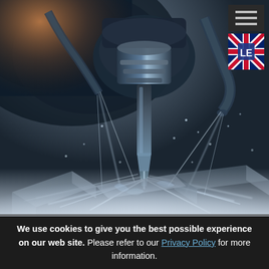[Figure (photo): Close-up photograph of a CNC milling machine cutting metal, with coolant liquid spraying from multiple nozzles onto the cutting tool and workpiece. The scene has a blue-grey tone with warm orange glow in the upper-left corner. The spinning tool and metal shavings are visible. The image fades to white/mist at the bottom.]
We use cookies to give you the best possible experience on our web site. Please refer to our Privacy Policy for more information.